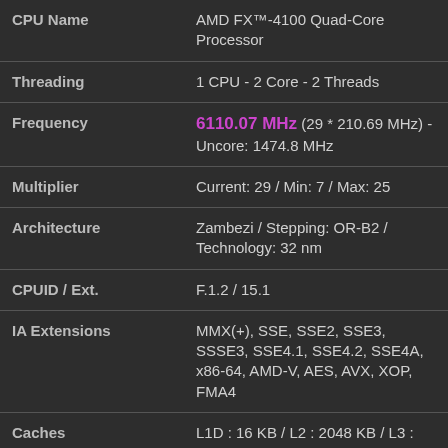| Property | Value |
| --- | --- |
| CPU Name | AMD FX™-4100 Quad-Core Processor |
| Threading | 1 CPU - 2 Core - 2 Threads |
| Frequency | 6110.07 MHz (29 * 210.69 MHz) - Uncore: 1474.8 MHz |
| Multiplier | Current: 29 / Min: 7 / Max: 25 |
| Architecture | Zambezi / Stepping: OR-B2 / Technology: 32 nm |
| CPUID / Ext. | F.1.2 / 15.1 |
| IA Extensions | MMX(+), SSE, SSE2, SSE3, SSSE3, SSE4.1, SSE4.2, SSE4A, x86-64, AMD-V, AES, AVX, XOP, FMA4 |
| Caches | L1D : 16 KB / L2 : 2048 KB / L3 : 8192 KB |
| Caches Assoc. | L1D : 4-way / L2 : 16-way / L3 : 64-way |